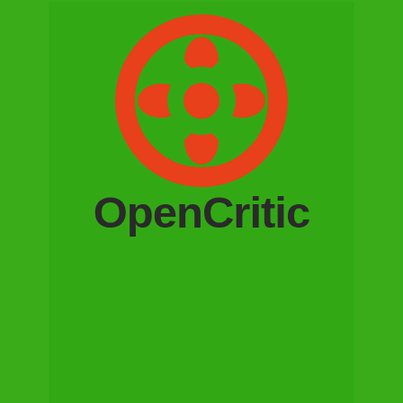[Figure (logo): OpenCritic logo: orange film reel / gamepad icon circle with text 'OpenCritic' below, on green background]
[Figure (logo): VRGameCritic logo: blue hexagon with ninja character icon and text 'vrgamecritic' in dark bold font, on green background]
[Figure (illustration): Partial view of another logo/illustration on blue background showing cartoon characters, cut off at bottom of page]